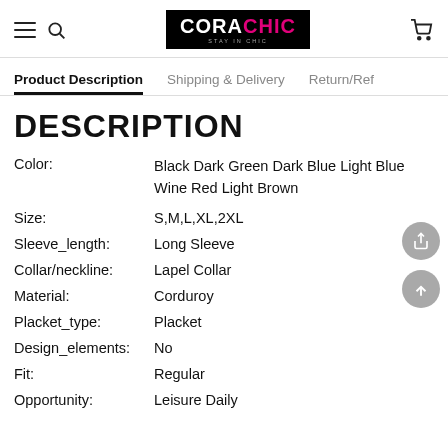CORACHIC - STAY IN CHIC
Product Description | Shipping & Delivery | Return/Ref
DESCRIPTION
| Attribute | Value |
| --- | --- |
| Color: | Black Dark Green Dark Blue Light Blue Wine Red Light Brown |
| Size: | S,M,L,XL,2XL |
| Sleeve_length: | Long Sleeve |
| Collar/neckline: | Lapel Collar |
| Material: | Corduroy |
| Placket_type: | Placket |
| Design_elements: | No |
| Fit: | Regular |
| Opportunity: | Leisure Daily |